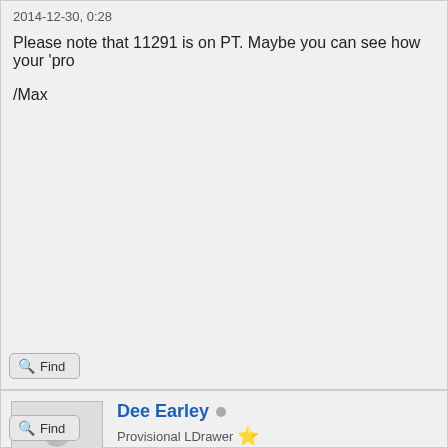2014-12-30, 0:28
Please note that 11291 is on PT. Maybe you can see how your 'pro
/Max
Find
Dee Earley
Provisional LDrawer ★
Part author
Re: Advice on creating curved sides/surfaces
2014-12-30, 12:59
Errr, so it is, I couldn't find it yesterday.. 😕
Thanks
Find